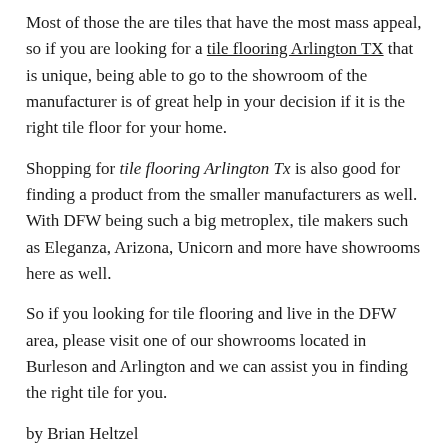Most of those the are tiles that have the most mass appeal, so if you are looking for a tile flooring Arlington TX that is unique, being able to go to the showroom of the manufacturer is of great help in your decision if it is the right tile floor for your home.
Shopping for tile flooring Arlington Tx is also good for finding a product from the smaller manufacturers as well. With DFW being such a big metroplex, tile makers such as Eleganza, Arizona, Unicorn and more have showrooms here as well.
So if you looking for tile flooring and live in the DFW area, please visit one of our showrooms located in Burleson and Arlington and we can assist you in finding the right tile for you.
by Brian Heltzel